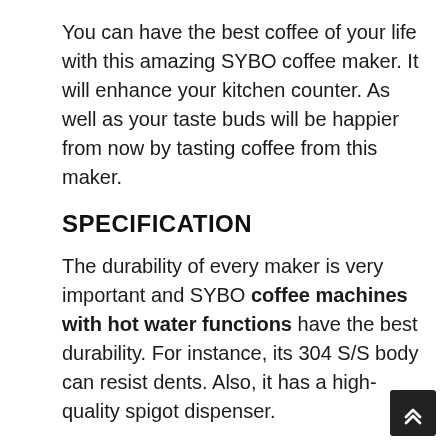You can have the best coffee of your life with this amazing SYBO coffee maker. It will enhance your kitchen counter. As well as your taste buds will be happier from now by tasting coffee from this maker.
SPECIFICATION
The durability of every maker is very important and SYBO coffee machines with hot water functions have the best durability. For instance, its 304 S/S body can resist dents. Also, it has a high-quality spigot dispenser.
Nonetheless, it is very easy to fill with the help of the level markings. And will alarm you to refill again when you will need it. SYBO has a stainless steel filter basket that is easy to use and clean.
SYBO is certified by ETL for the safety and the best